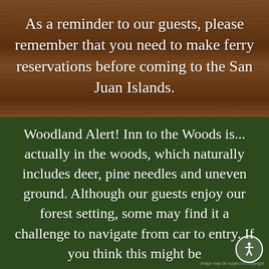[Figure (photo): Wooden plank background texture in brown tones]
As a reminder to our guests, please remember that you need to make ferry reservations before coming to the San Juan Islands.
Image may be subject to copyright
Woodland Alert!  Inn to the Woods is... actually in the woods, which naturally includes deer, pine needles and uneven ground. Although our guests enjoy our forest setting, some may find it a challenge to navigate from car to entry. If you think this might be